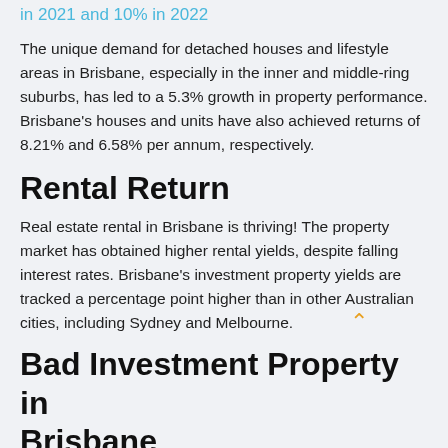in 2021 and 10% in 2022
The unique demand for detached houses and lifestyle areas in Brisbane, especially in the inner and middle-ring suburbs, has led to a 5.3% growth in property performance. Brisbane's houses and units have also achieved returns of 8.21% and 6.58% per annum, respectively.
Rental Return
Real estate rental in Brisbane is thriving! The property market has obtained higher rental yields, despite falling interest rates. Brisbane's investment property yields are tracked a percentage point higher than in other Australian cities, including Sydney and Melbourne.
Bad Investment Property in Brisbane